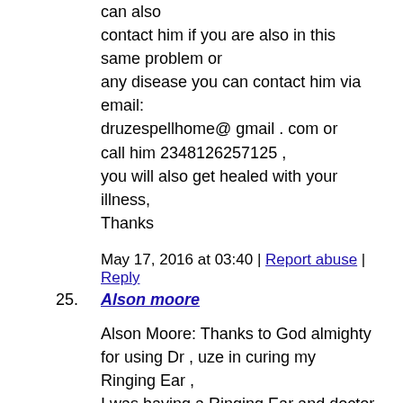can also contact him if you are also in this same problem or any disease you can contact him via email: druzespellhome@ gmail . com or call him 2348126257125 , you will also get healed with your illness, Thanks
May 17, 2016 at 03:40 | Report abuse | Reply
25. Alson moore
Alson Moore: Thanks to God almighty for using Dr , uze in curing my Ringing Ear , I was having a Ringing Ear and doctor told me that I have few months it will affect my brain to , that news brought sadness into my life, I was depressed , don ' t know what to do. One faithful day I saw a testimony on how a spell caster that is also known as a Herbal man cured a